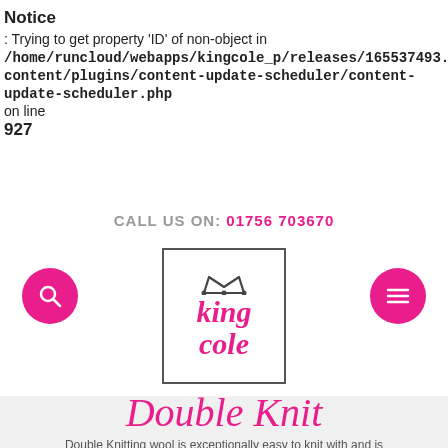Notice
: Trying to get property 'ID' of non-object in /home/runcloud/webapps/kingcole_p/releases/165537493.../content/plugins/content-update-scheduler/content-update-scheduler.php on line 927
CALL US ON:  01756 703670
[Figure (logo): King Cole logo: crown above the text 'king cole' in pink italic font inside a bordered box]
Double Knit
Double Knitting wool is exceptionally easy to knit with and is